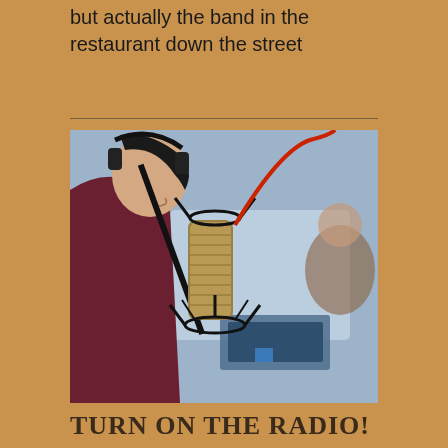but actually the band in the restaurant down the street
[Figure (photo): Close-up photo of a person speaking into a professional studio microphone, wearing headphones. The microphone is a large-diaphragm condenser type on a mount with cables. Background shows a blurred studio setting with another person visible.]
TURN ON THE RADIO!
You never know who'll be on it. Like me, for instance. This morning Pat Rullo in Ohio interviewed me for Speak Up Talk